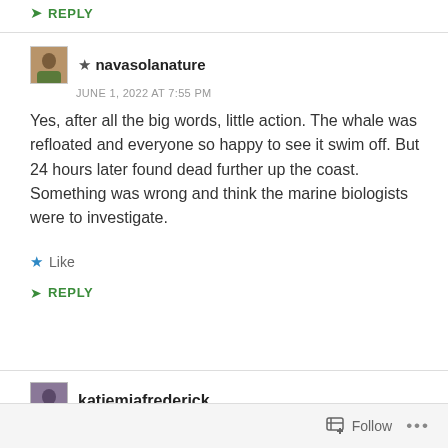REPLY
★ navasolanature
JUNE 1, 2022 AT 7:55 PM
Yes, after all the big words, little action. The whale was refloated and everyone so happy to see it swim off. But 24 hours later found dead further up the coast. Something was wrong and think the marine biologists were to investigate.
Like
REPLY
katiemiafrederick
Follow